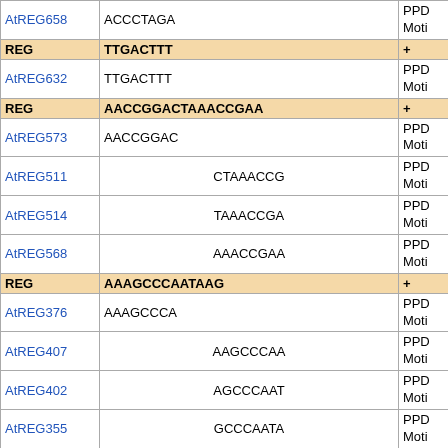| ID | Sequence | PP |
| --- | --- | --- |
| AtREG658 | ACCCTAGA | PPD Moti |
| REG | TTGACTTT | + |
| AtREG632 | TTGACTTT | PPD Moti |
| REG | AACCGGACTAAACCGAA | + |
| AtREG573 | AACCGGAC | PPD Moti |
| AtREG511 | CTAAACCG | PPD Moti |
| AtREG514 | TAAACCGA | PPD Moti |
| AtREG568 | AAACCGAA | PPD Moti |
| REG | AAAGCCCAATAAG | + |
| AtREG376 | AAAGCCCA | PPD Moti |
| AtREG407 | AAGCCCAA | PPD Moti |
| AtREG402 | AGCCCAAT | PPD Moti |
| AtREG355 | GCCCAATA | PPD Moti |
| AtREG417 | CCCAATAA | PPD Moti |
| AtREG611 | CCAATAAG | PPD Moti |